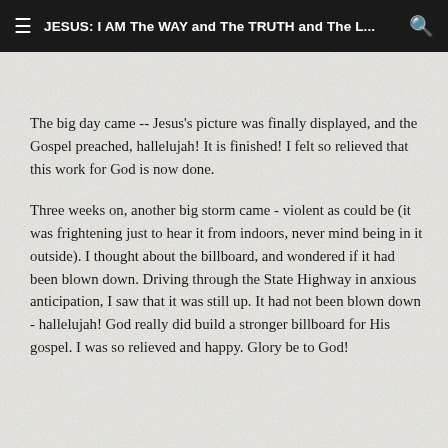JESUS: I AM The WAY and The TRUTH and The L...
The big day came -- Jesus's picture was finally displayed, and the Gospel preached, hallelujah! It is finished! I felt so relieved that this work for God is now done.
Three weeks on, another big storm came - violent as could be (it was frightening just to hear it from indoors, never mind being in it outside). I thought about the billboard, and wondered if it had been blown down. Driving through the State Highway in anxious anticipation, I saw that it was still up. It had not been blown down - hallelujah! God really did build a stronger billboard for His gospel. I was so relieved and happy. Glory be to God!